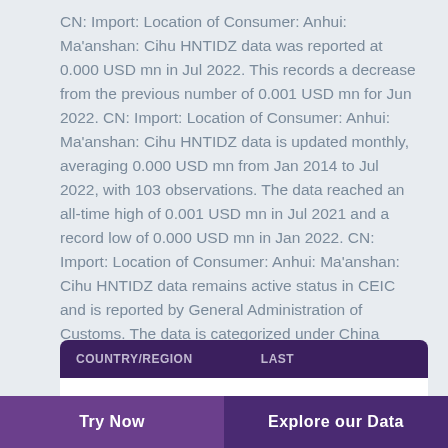CN: Import: Location of Consumer: Anhui: Ma'anshan: Cihu HNTIDZ data was reported at 0.000 USD mn in Jul 2022. This records a decrease from the previous number of 0.001 USD mn for Jun 2022. CN: Import: Location of Consumer: Anhui: Ma'anshan: Cihu HNTIDZ data is updated monthly, averaging 0.000 USD mn from Jan 2014 to Jul 2022, with 103 observations. The data reached an all-time high of 0.001 USD mn in Jul 2021 and a record low of 0.000 USD mn in Jan 2022. CN: Import: Location of Consumer: Anhui: Ma'anshan: Cihu HNTIDZ data remains active status in CEIC and is reported by General Administration of Customs. The data is categorized under China Premium Database's International Trade – Table CN.JB: USD: Import by Location of Consumer.
| COUNTRY/REGION | LAST |
| --- | --- |
| CN: Import: Location of Consumer: Anhui: | ▼ 0.000 |
Try Now    Explore our Data